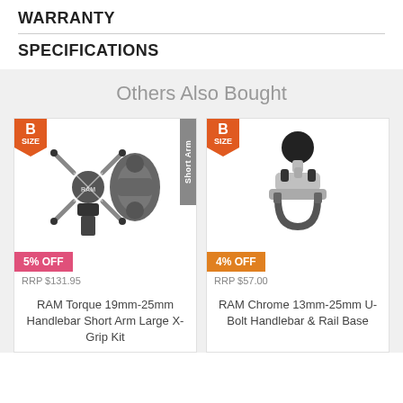WARRANTY
SPECIFICATIONS
Others Also Bought
[Figure (photo): RAM Torque 19mm-25mm Handlebar Short Arm Large X-Grip Kit product image with B SIZE badge, Short Arm label, 5% OFF badge, RRP $131.95]
RRP $131.95
RAM Torque 19mm-25mm Handlebar Short Arm Large X-Grip Kit
[Figure (photo): RAM Chrome 13mm-25mm U-Bolt Handlebar & Rail Base product image with B SIZE badge, 4% OFF badge, RRP $57.00]
RRP $57.00
RAM Chrome 13mm-25mm U-Bolt Handlebar & Rail Base